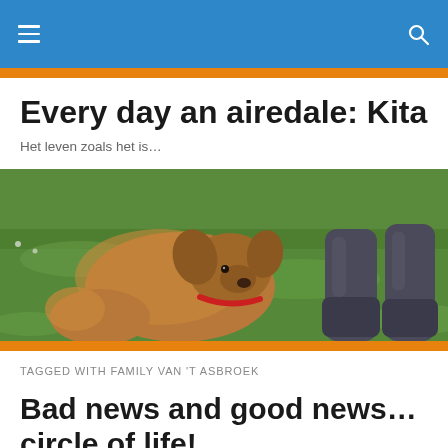≡  🔍
Every day an airedale: Kita
Het leven zoals het is…
[Figure (photo): A dog (airedale terrier) lying on green grass beside a person's rubber boots/wellies]
TAGGED WITH FAMILY VAN 'T ASBROEK
Bad news and good news… circle of life!